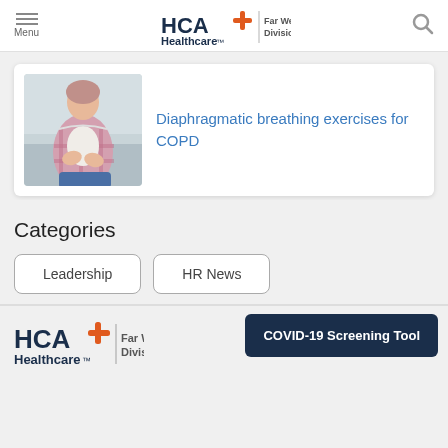HCA Healthcare Far West Division
[Figure (photo): Woman holding her abdomen, wearing a plaid shirt and jeans, standing outdoors]
Diaphragmatic breathing exercises for COPD
Categories
Leadership
HR News
HCA Healthcare Far West Division | COVID-19 Screening Tool